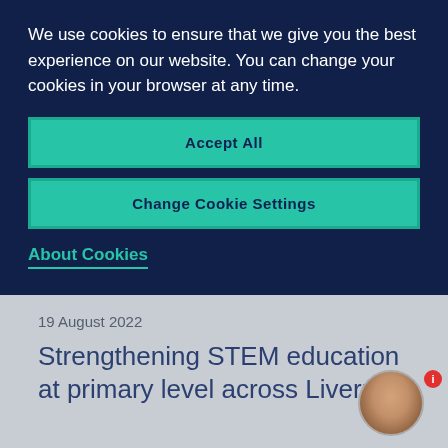We use cookies to ensure that we give you the best experience on our website. You can change your cookies in your browser at any time.
Accept All
Change Cookie Settings
About Cookies
19 August 2022
Strengthening STEM education at primary level across Liverpool